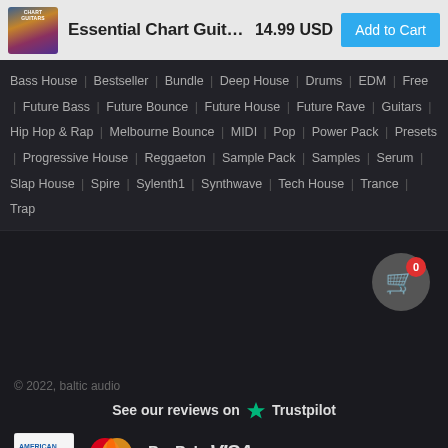Essential Chart Guit...  14.99 USD  Add to Cart
Bass House | Bestseller | Bundle | Deep House | Drums | EDM | Free | Future Bass | Future Bounce | Future House | Future Rave | Guitars | Hip Hop & Rap | Melbourne Bounce | MIDI | Pop | Power Pack | Presets | Progressive House | Reggaeton | Sample Pack | Samples | Serum | Slap House | Spire | Sylenth1 | Synthwave | Tech House | Trance | Trap
[Figure (illustration): Shopping cart icon with badge showing 0]
© 2022, baltic audio
See our reviews on ★ Trustpilot
[Figure (logo): Payment logos: American Express, MasterCard, PayPal, VISA]
United States (USD $)